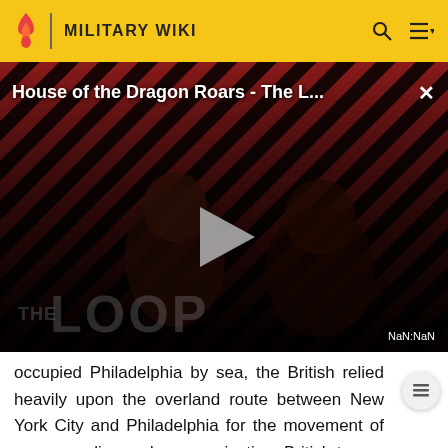MILITARY WIKI
[Figure (screenshot): Video thumbnail for 'House of the Dragon Roars - The L...' with diagonal red and dark stripe background, two figures visible, a play button in center, 'THE LOOP' watermark text, and 'NaN:NaN' timer badge in bottom right corner.]
occupied Philadelphia by sea, the British relied heavily upon the overland route between New York City and Philadelphia for the movement of men, supplies and communication. British troops also regularly foraged for supplies in the countryside around the city.